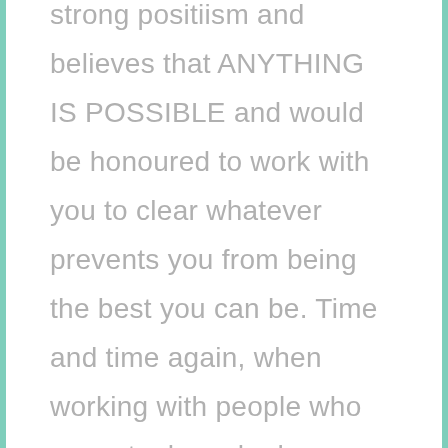strong positiism and believes that ANYTHING IS POSSIBLE and would be honoured to work with you to clear whatever prevents you from being the best you can be. Time and time again, when working with people who come to her, she has seen the gentle yet profound way that stress, anxiety, fears and phobias, physical pain and thoughts and beliefs that limit us are released.